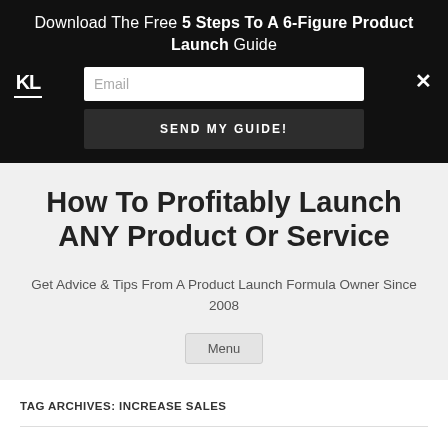Download The Free 5 Steps To A 6-Figure Product Launch Guide
SEND MY GUIDE!
How To Profitably Launch ANY Product Or Service
Get Advice & Tips From A Product Launch Formula Owner Since 2008
Menu
TAG ARCHIVES: INCREASE SALES